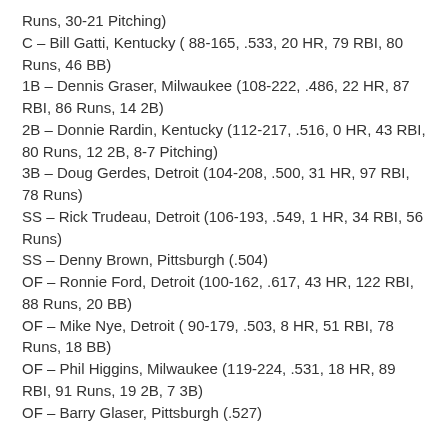Runs, 30-21 Pitching)
C – Bill Gatti, Kentucky ( 88-165, .533, 20 HR, 79 RBI, 80 Runs, 46 BB)
1B – Dennis Graser, Milwaukee (108-222, .486, 22 HR, 87 RBI, 86 Runs, 14 2B)
2B – Donnie Rardin, Kentucky (112-217, .516, 0 HR, 43 RBI, 80 Runs, 12 2B, 8-7 Pitching)
3B – Doug Gerdes, Detroit (104-208, .500, 31 HR, 97 RBI, 78 Runs)
SS – Rick Trudeau, Detroit (106-193, .549, 1 HR, 34 RBI, 56 Runs)
SS – Denny Brown, Pittsburgh (.504)
OF – Ronnie Ford, Detroit (100-162, .617, 43 HR, 122 RBI, 88 Runs, 20 BB)
OF – Mike Nye, Detroit ( 90-179, .503, 8 HR, 51 RBI, 78 Runs, 18 BB)
OF – Phil Higgins, Milwaukee (119-224, .531, 18 HR, 89 RBI, 91 Runs, 19 2B, 7 3B)
OF – Barry Glaser, Pittsburgh (.527)